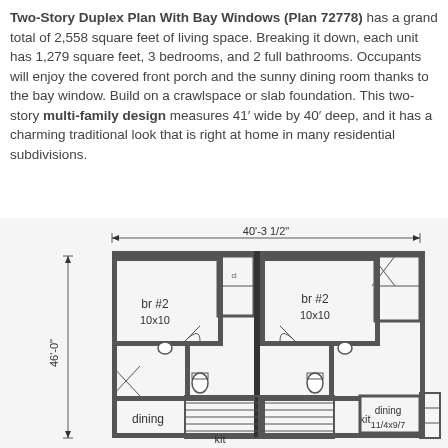Two-Story Duplex Plan With Bay Windows (Plan 72778) has a grand total of 2,558 square feet of living space. Breaking it down, each unit has 1,279 square feet, 3 bedrooms, and 2 full bathrooms. Occupants will enjoy the covered front porch and the sunny dining room thanks to the bay window. Build on a crawlspace or slab foundation. This two-story multi-family design measures 41' wide by 40' deep, and it has a charming traditional look that is right at home in many residential subdivisions.
[Figure (engineering-diagram): Floor plan diagram of a two-story duplex showing second floor layout with two mirrored units. Dimensions shown: 40'-3 1/2" wide and 46'-0" deep. Each unit contains br #2 (10x10), bathroom, dining area, and kit (kitchen). The plan shows wall thicknesses, door swings, stairs, and room labels.]